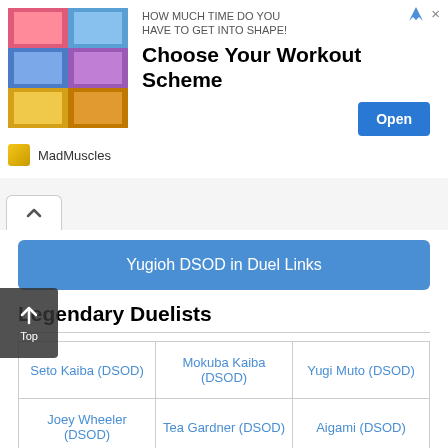[Figure (illustration): Advertisement banner: Choose Your Workout Scheme by MadMuscles with Open button]
[Figure (other): Navigation tab with up arrow chevron]
Yugioh DSOD in Duel Links
Legendary Duelists
| Seto Kaiba (DSOD) | Mokuba Kaiba (DSOD) | Yugi Muto (DSOD) |
| Joey Wheeler (DSOD) | Tea Gardner (DSOD) | Aigami (DSOD) |
| Sera (DSOD) | Scud (DSOD) | Bakura (DSOD) |
How to beat/farm Legendary Duelists Lvl 40